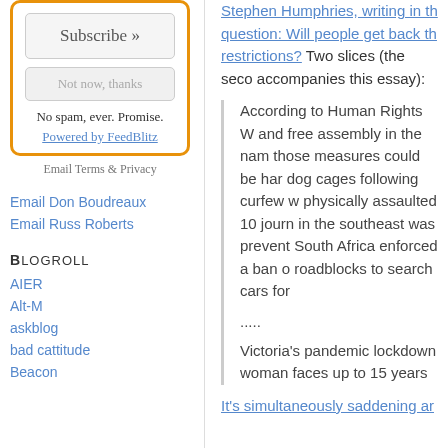[Figure (other): Subscribe widget with orange border, Subscribe » button, Not now thanks button, No spam ever Promise text, Powered by FeedBlitz link]
Email Terms & Privacy
Email Don Boudreaux
Email Russ Roberts
Blogroll
AIER
Alt-M
askblog
bad cattitude
Beacon
Stephen Humphries, writing in th question: Will people get back th restrictions? Two slices (the seco accompanies this essay):
According to Human Rights W and free assembly in the nam those measures could be har dog cages following curfew w physically assaulted 10 journ in the southeast was prevent South Africa enforced a ban o roadblocks to search cars for
.....
Victoria's pandemic lockdown woman faces up to 15 years
It's simultaneously saddening ar